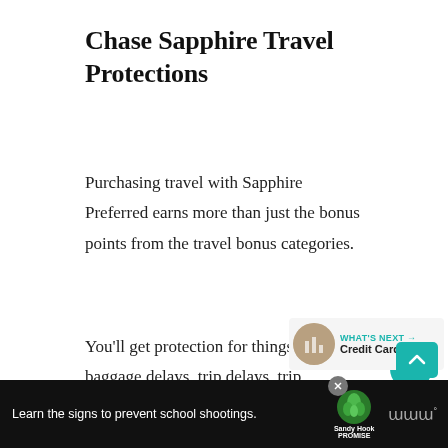Chase Sapphire Travel Protections
Purchasing travel with Sapphire Preferred earns more than just the bonus points from the travel bonus categories.
You'll get protection for things like baggage delays, trip delays, trip interruption, trip cancelation, and roadside assistance. There's also purchase protection and extended
Learn the signs to prevent school shootings. Sandy Hook Promise